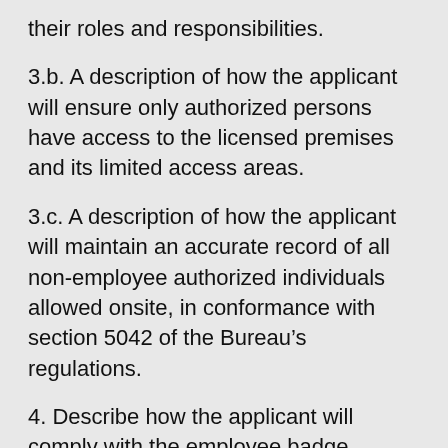their roles and responsibilities.
3.b. A description of how the applicant will ensure only authorized persons have access to the licensed premises and its limited access areas.
3.c. A description of how the applicant will maintain an accurate record of all non-employee authorized individuals allowed onsite, in conformance with section 5042 of the Bureau’s regulations.
4. Describe how the applicant will comply with the employee badge requirement in section 5043 of the Bureau’s regulations, including how the applicant will assign employee numbers and what the procedures are when an employee changes